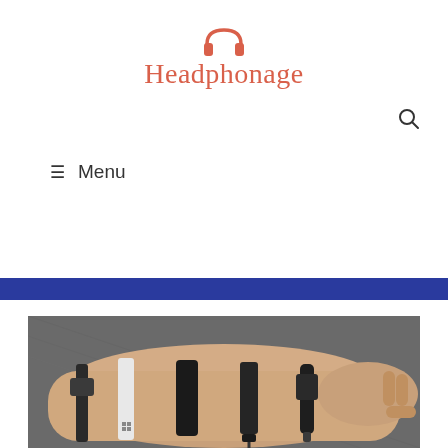Headphonage
[Figure (logo): Headphonage website logo with headphone icon in salmon/orange color and site name text]
☰ Menu
[Figure (photo): A hand and forearm wearing multiple smartwatch/fitness tracker bands of various styles — black, white, and dark colored bands displayed on arm against dark gray fabric background]